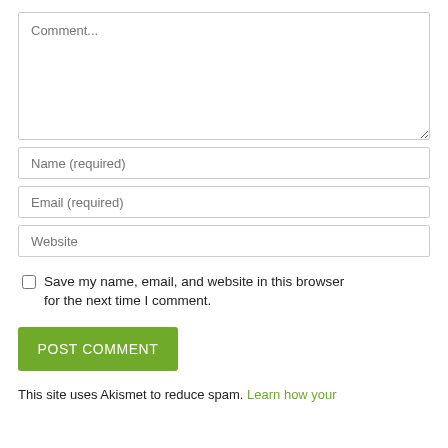[Figure (screenshot): Comment textarea input field with placeholder text 'Comment...']
[Figure (screenshot): Name (required) text input field]
[Figure (screenshot): Email (required) text input field]
[Figure (screenshot): Website text input field]
Save my name, email, and website in this browser for the next time I comment.
[Figure (screenshot): POST COMMENT green button]
This site uses Akismet to reduce spam. Learn how your